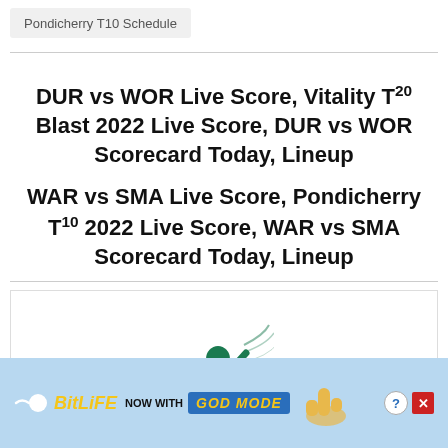Pondicherry T10 Schedule
DUR vs WOR Live Score, Vitality T20 Blast 2022 Live Score, DUR vs WOR Scorecard Today, Lineup
WAR vs SMA Live Score, Pondicherry T10 2022 Live Score, WAR vs SMA Scorecard Today, Lineup
[Figure (illustration): Green cricket batsman silhouette illustration with motion lines and a ball]
[Figure (infographic): BitLife advertisement banner: NOW WITH GOD MODE, with sperm logo, hand pointing, question mark and close buttons]